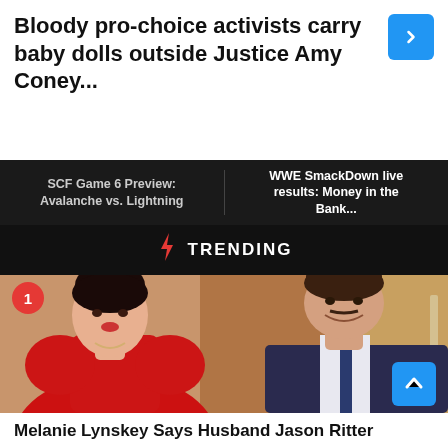Bloody pro-choice activists carry baby dolls outside Justice Amy Coney...
SCF Game 6 Preview: Avalanche vs. Lightning
WWE SmackDown live results: Money in the Bank...
⚡ TRENDING
[Figure (photo): Photo of a woman in a red dress and a man in a dark suit, celebrity couple on a red carpet]
Melanie Lynskey Says Husband Jason Ritter